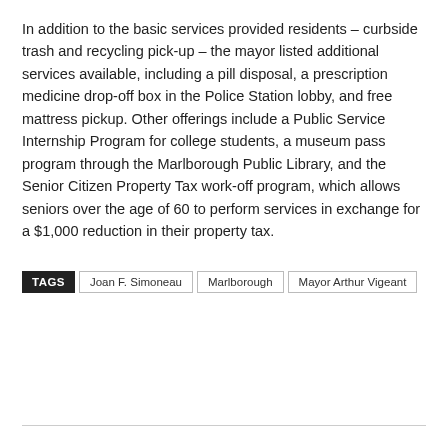In addition to the basic services provided residents – curbside trash and recycling pick-up – the mayor listed additional services available, including a pill disposal, a prescription medicine drop-off box in the Police Station lobby, and free mattress pickup. Other offerings include a Public Service Internship Program for college students, a museum pass program through the Marlborough Public Library, and the Senior Citizen Property Tax work-off program, which allows seniors over the age of 60 to perform services in exchange for a $1,000 reduction in their property tax.
TAGS: Joan F. Simoneau | Marlborough | Mayor Arthur Vigeant